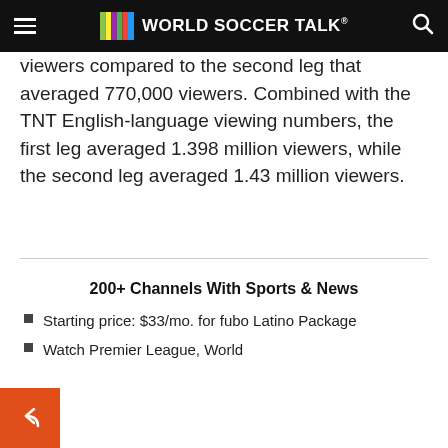WORLD SOCCER TALK
viewers compared to the second leg that averaged 770,000 viewers. Combined with the TNT English-language viewing numbers, the first leg averaged 1.398 million viewers, while the second leg averaged 1.43 million viewers.
200+ Channels With Sports & News
Starting price: $33/mo. for fubo Latino Package
Watch Premier League, World